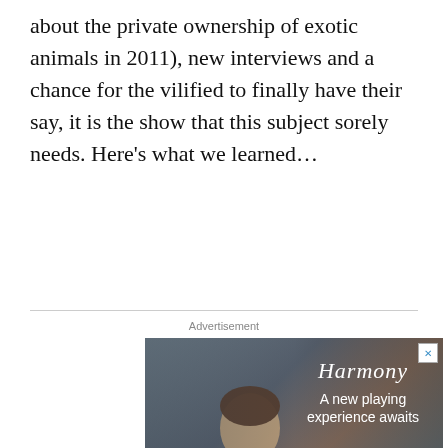about the private ownership of exotic animals in 2011), new interviews and a chance for the vilified to finally have their say, it is the show that this subject sorely needs. Here's what we learned…
[Figure (photo): Advertisement banner for Harmony guitars showing a young man in a denim jacket playing a red electric guitar. Text overlay reads 'Harmony - A new playing experience awaits' with a 'Learn More' button.]